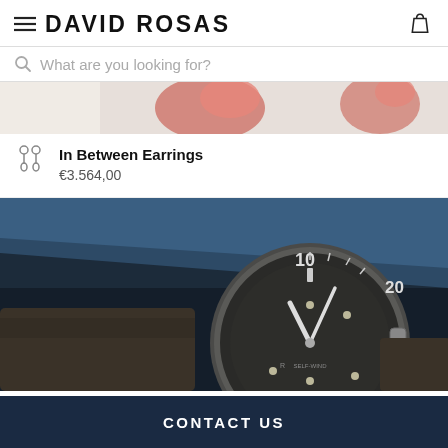DAVID ROSAS
What are you looking for?
[Figure (photo): Partial view of red flowers/jewelry on light background, cropped at top]
In Between Earrings
€3.564,00
[Figure (photo): Close-up of a luxury diver watch with dark dial showing numerals 10 and 20 on the bezel, dark brown fabric strap, positioned on a dark blue surface with blue fabric in background]
CONTACT US